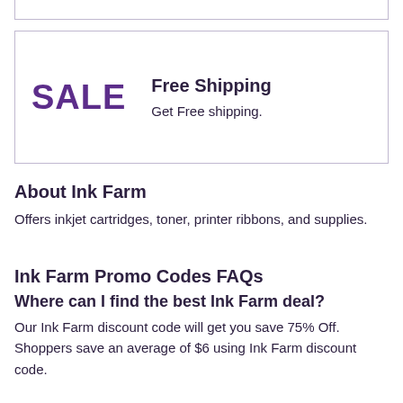[Figure (other): Promotional banner with SALE label and Free Shipping offer. Large purple SALE text on the left, and 'Free Shipping / Get Free shipping.' on the right, all inside a bordered box.]
About Ink Farm
Offers inkjet cartridges, toner, printer ribbons, and supplies.
Ink Farm Promo Codes FAQs
Where can I find the best Ink Farm deal?
Our Ink Farm discount code will get you save 75% Off. Shoppers save an average of $6 using Ink Farm discount code.